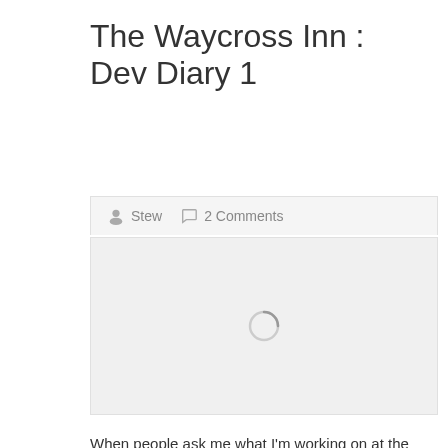The Waycross Inn : Dev Diary 1
Stew   2 Comments
[Figure (other): Loading spinner / placeholder image area with grey background]
When people ask me what I'm working on at the moment, I tell them;
“It’s an RPG about running a medieval fantasy Tavern, and It's going to be a bit like ‘King of Dragon Pass’.”
And the response is one of two things… More often than not, the response is a nonplussed expression, followed by “What? Never heard of that game”. But when I tell someone who knows